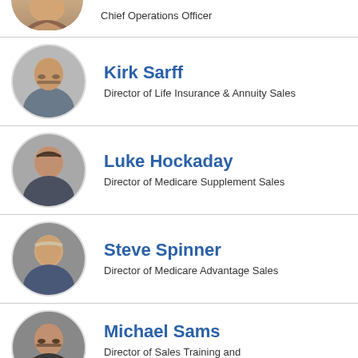[Figure (photo): Partial view of a woman's headshot (cropped, top of page)]
Chief Operations Officer
[Figure (photo): Headshot of Kirk Sarff, a middle-aged man with glasses]
Kirk Sarff
Director of Life Insurance & Annuity Sales
[Figure (photo): Headshot of Luke Hockaday, a younger man smiling]
Luke Hockaday
Director of Medicare Supplement Sales
[Figure (photo): Headshot of Steve Spinner, an older man smiling]
Steve Spinner
Director of Medicare Advantage Sales
[Figure (photo): Headshot of Michael Sams, a man with glasses]
Michael Sams
Director of Sales Training and Development